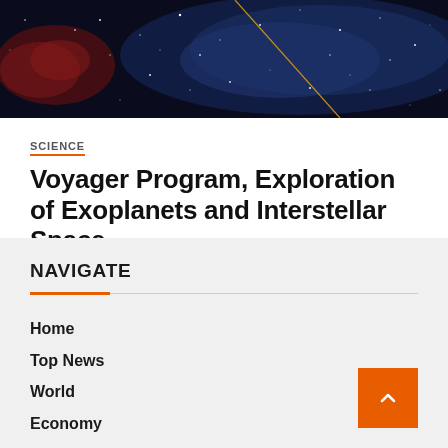[Figure (photo): Space/galaxy photo showing stars and nebula on dark background with orange/yellow diagonal line]
SCIENCE
Voyager Program, Exploration of Exoplanets and Interstellar Space
August 20, 2022   Haley Howe
NAVIGATE
Home
Top News
World
Economy